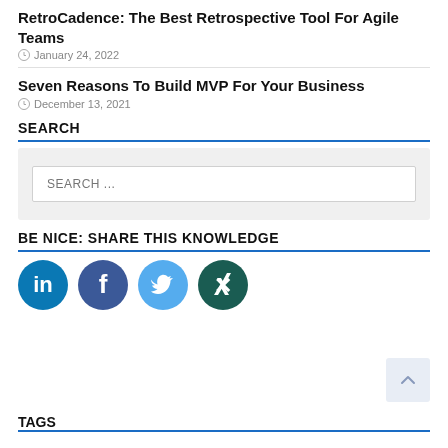RetroCadence: The Best Retrospective Tool For Agile Teams
January 24, 2022
Seven Reasons To Build MVP For Your Business
December 13, 2021
SEARCH
[Figure (other): Search input box with placeholder text SEARCH ...]
BE NICE: SHARE THIS KNOWLEDGE
[Figure (other): Social media icons: LinkedIn, Facebook, Twitter, Xing]
TAGS